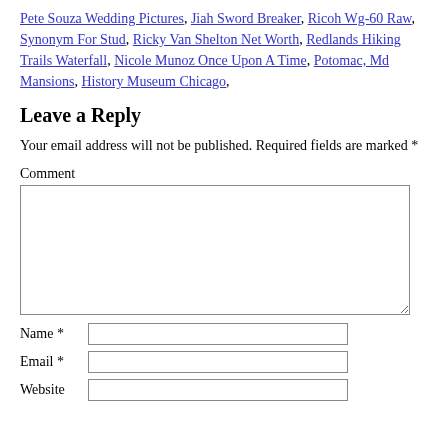Pete Souza Wedding Pictures, Jiah Sword Breaker, Ricoh Wg-60 Raw, Synonym For Stud, Ricky Van Shelton Net Worth, Redlands Hiking Trails Waterfall, Nicole Munoz Once Upon A Time, Potomac, Md Mansions, History Museum Chicago,
Leave a Reply
Your email address will not be published. Required fields are marked *
Comment
Name *
Email *
Website